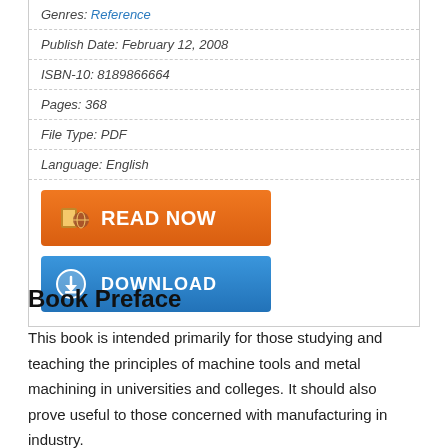Genres: Reference
Publish Date: February 12, 2008
ISBN-10: 8189866664
Pages: 368
File Type: PDF
Language: English
[Figure (other): Orange READ NOW button with book/globe icon]
[Figure (other): Blue DOWNLOAD button with download arrow icon]
Book Preface
This book is intended primarily for those studying and teaching the principles of machine tools and metal machining in universities and colleges. It should also prove useful to those concerned with manufacturing in industry.